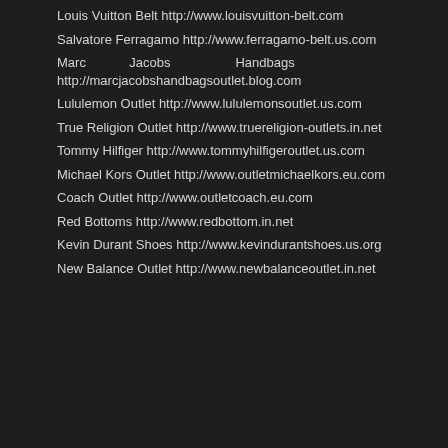Louis Vuitton Belt http://www.louisvuitton-belt.com
Salvatore Ferragamo http://www.ferragamo-belt.us.com
Marc Jacobs Handbags http://marcjacobshandbagsoutlet.blog.com
Lululemon Outlet http://www.lululemonsoutlet.us.com
True Religion Outlet http://www.truereligion-outlets.in.net
Tommy Hilfiger http://www.tommyhilfigeroutlet.us.com
Michael Kors Outlet http://www.outletmichaelkors.eu.com
Coach Outlet http://www.outletcoach.eu.com
Red Bottoms http://www.redbottom.in.net
Kevin Durant Shoes http://www.kevindurantshoes.us.org
New Balance Outlet http://www.newbalanceoutlet.in.net